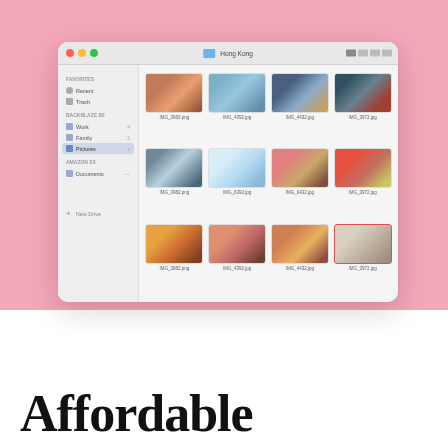[Figure (screenshot): macOS Finder window showing a grid of Hong Kong city/street photos labeled IMG_3982.png, IMG_4392.jpg, IMG_4432.jpg, IMG_3972.jpg (row 1), IMG_3982.png, IMG_6392.jpg, IMG_6432.jpg, IMG_3972.jpg (row 2), IMG_3982.png, IMG_4392.jpg, IMG_4432.jpg, IMG_3972.jpg (row 3). The sidebar shows Favorites (Recent, Trash), Backblaze B2 (Work, Family, Pictures selected), Amazon S3 (Documents), and a New Drive option. The folder is named Hong Kong.]
Affordable